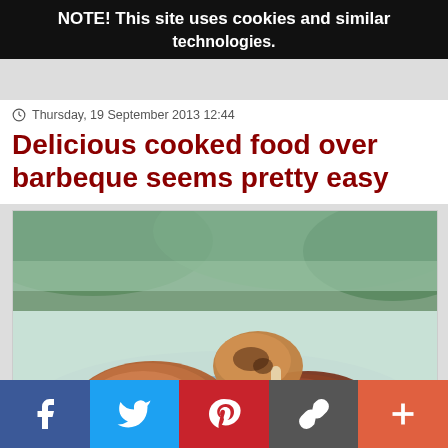NOTE! This site uses cookies and similar technologies.
Thursday, 19 September 2013 12:44
Delicious cooked food over barbeque seems pretty easy
[Figure (photo): Grilled barbecue meats including chicken drumstick and steak on a blue plate with herb garnish, outdoor background with green trees]
Social share buttons: Facebook, Twitter, Pinterest, Link, More